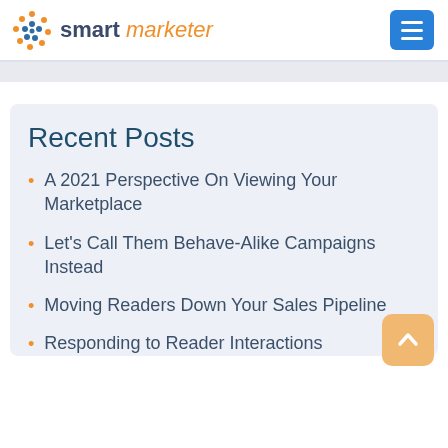smart marketer
Recent Posts
A 2021 Perspective On Viewing Your Marketplace
Let's Call Them Behave-Alike Campaigns Instead
Moving Readers Down Your Sales Pipeline
Responding to Reader Interactions